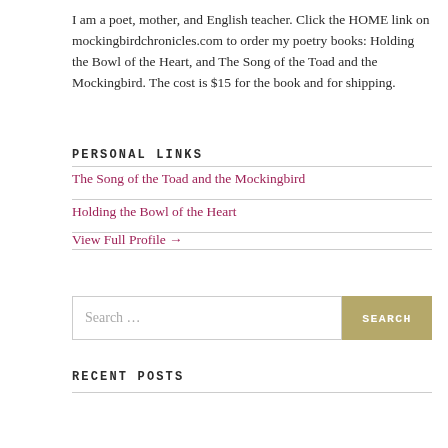I am a poet, mother, and English teacher. Click the HOME link on mockingbirdchronicles.com to order my poetry books: Holding the Bowl of the Heart, and The Song of the Toad and the Mockingbird. The cost is $15 for the book and for shipping.
PERSONAL LINKS
The Song of the Toad and the Mockingbird
Holding the Bowl of the Heart
View Full Profile →
RECENT POSTS